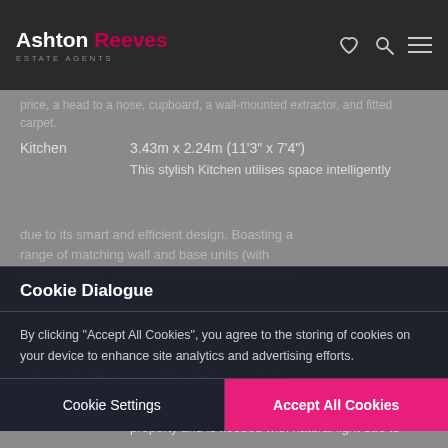Ashton Reeves Estate Agents
Kitchen  3.43m x 2.24m (11'3" x 7'4")  This stylish Kitchen utilises space intelligently due to its smart and efficient design. Boasting a range of matching wall and base units (with worktops over), a range of integrated appliances with 4 ring gas hob and overhead extractor, and a sink and drainer unit. Other features include tile-effect flooring and part-tiled walls.
Cookie Dialogue
By clicking “Accept All Cookies”, you agree to the storing of cookies on your device to enhance site analytics and advertising efforts.
Cookie Settings
Accept All Cookies
Lounge  4.70m x 3.96m (15'5" x 12'12")  The Lounge is a real highlight of this desirable property and is flooded with natural light due to